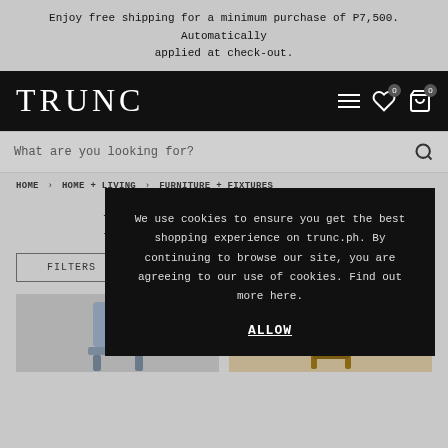Enjoy free shipping for a minimum purchase of P7,500. Automatically applied at check-out.
TRUNC
What are you looking for?
HOME › HOME + LIVING › FURNITURE + FIXTURES
Furni...
FILTERS
We use cookies to ensure you get the best shopping experience on trunc.ph. By continuing to browse our site, you are agreeing to our use of cookies. Find out more here.
ALLOW
[Figure (photo): Two furniture product thumbnails at the bottom of the page — a grey upholstered chair back on the left and a wooden chair frame on the right.]